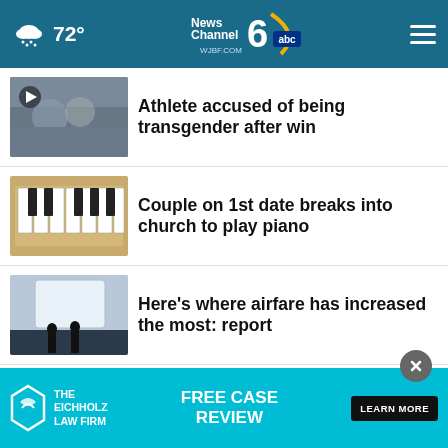72° | News Channel 6 WJBF.COM abc
Athlete accused of being transgender after win
Couple on 1st date breaks into church to play piano
Here's where airfare has increased the most: report
Monkeypox disproportionately affecting people of …
Woman hurt on Lake Michigan loses lower legs
[Figure (screenshot): Advertisement banner for The Eichholz Law Firm with Free Case Review text and Learn More button]